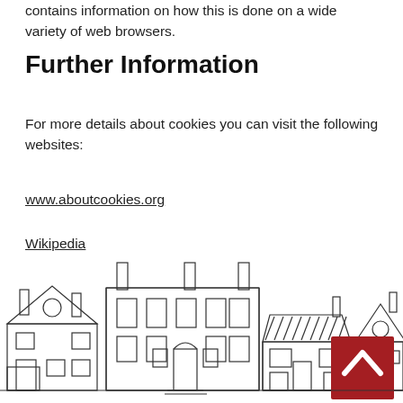contains information on how this is done on a wide variety of web browsers.
Further Information
For more details about cookies you can visit the following websites:
www.aboutcookies.org
Wikipedia
[Figure (illustration): Line drawing of a row of houses/buildings in various architectural styles, with a red 'back to top' button (chevron/caret icon) overlaid at the bottom right.]